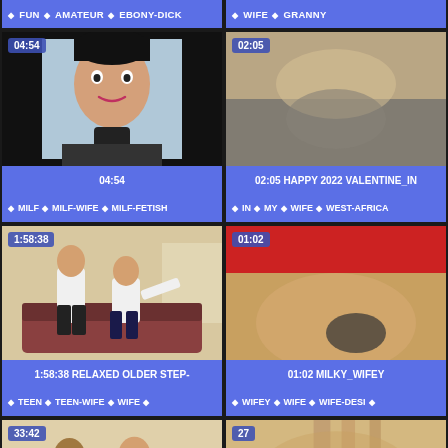FUN  AMATEUR  EBONY-DICK
WIFE  GRANNY
[Figure (screenshot): Video thumbnail showing Asian woman, duration 04:54, tags: MILF, MILF-WIFE, MILF-FETISH]
[Figure (screenshot): Video thumbnail blurry close-up, duration 02:05, title: HAPPY 2022 VALENTINE_IN, tags: IN, MY, WIFE, WEST-AFRICA]
[Figure (screenshot): Video thumbnail showing two people on couch, duration 1:58:38, title: RELAXED OLDER STEP-, tags: TEEN, TEEN-WIFE, WIFE]
[Figure (screenshot): Video thumbnail close-up with red cloth, duration 01:02, title: MILKY_WIFEY, tags: WIFEY, WIFE, WIFE-DESI]
[Figure (screenshot): Video thumbnail showing two people, duration 33:42]
[Figure (screenshot): Video thumbnail close-up, duration 27]